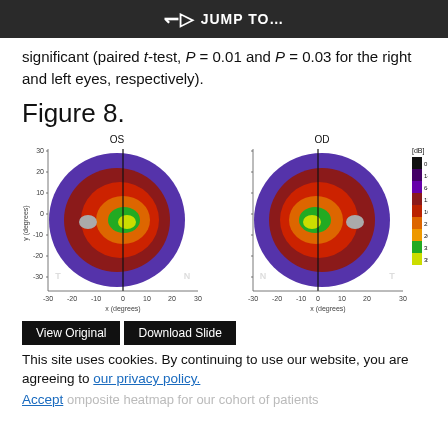JUMP TO...
significant (paired t-test, P = 0.01 and P = 0.03 for the right and left eyes, respectively).
Figure 8.
[Figure (other): Two composite visual field heatmaps side by side. Left map labeled OS, right map labeled OD. Each shows colored regions (purple, dark red, red, orange, green, yellow) on x/y degree axes ranging from -30 to 30. A vertical black line at x=0. T and N labels for temporal/nasal. A gray oval representing the blind spot. Color legend on right side labeled [dB] with scale from 0 (black) to 35-40 (yellow).]
View Original | Download Slide
This site uses cookies. By continuing to use our website, you are agreeing to our privacy policy. Accept
omposite heatmap for our cohort of patients